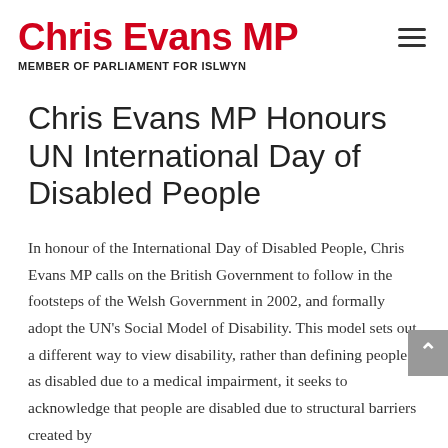Chris Evans MP
MEMBER OF PARLIAMENT FOR ISLWYN
Chris Evans MP Honours UN International Day of Disabled People
In honour of the International Day of Disabled People, Chris Evans MP calls on the British Government to follow in the footsteps of the Welsh Government in 2002, and formally adopt the UN's Social Model of Disability. This model sets out a different way to view disability, rather than defining people as disabled due to a medical impairment, it seeks to acknowledge that people are disabled due to structural barriers created by